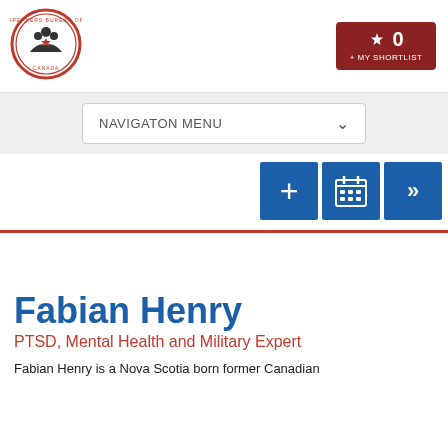[Figure (logo): Speakers Bureau of Canada circular logo with people silhouettes and maple leaf]
[Figure (infographic): My Shortlist button showing 0 items, dark red/maroon background with maple leaf icon]
[Figure (screenshot): Navigation Menu dropdown bar with chevron]
[Figure (infographic): Three blue icon buttons: plus, calendar grid, and forward arrows]
Fabian Henry
PTSD, Mental Health and Military Expert
Fabian Henry is a Nova Scotia born former Canadian